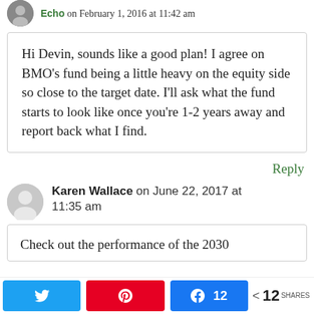Echo on February 1, 2016 at 11:42 am
Hi Devin, sounds like a good plan! I agree on BMO’s fund being a little heavy on the equity side so close to the target date. I’ll ask what the fund starts to look like once you’re 1-2 years away and report back what I find.
Reply
Karen Wallace on June 22, 2017 at 11:35 am
Check out the performance of the 2030